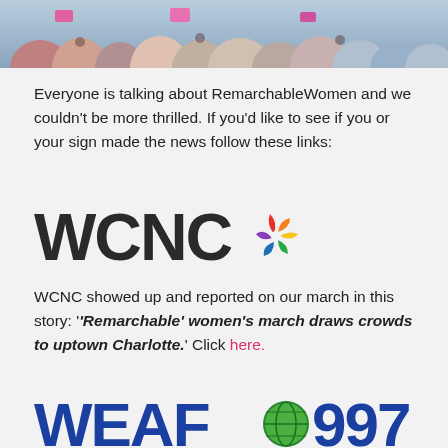[Figure (photo): Crowd of people at a rally or march, photographed outdoors]
Everyone is talking about RemarchableWomen and we couldn't be more thrilled. If you'd like to see if you or your sign made the news follow these links:
[Figure (logo): WCNC logo with NBC peacock icon]
WCNC showed up and reported on our march in this story: '‘Remarchable’ women’s march draws crowds to uptown Charlotte.' Click here.
[Figure (logo): WEAF 99.7 logo (partial, cut off at bottom)]